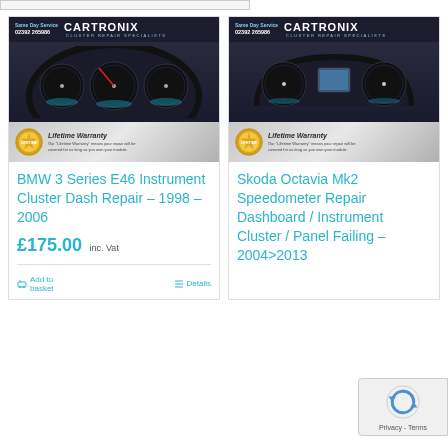[Figure (photo): Cartronix product listing card for BMW 3 Series E46 Instrument Cluster Dash Repair showing instrument cluster image with Cartronix branding banner and lifetime warranty bar]
BMW 3 Series E46 Instrument Cluster Dash Repair – 1998 – 2006
£175.00 inc. Vat
Add to basket
Details
[Figure (photo): Cartronix product listing card for Skoda Octavia Mk2 Speedometer Repair Dashboard / Instrument Cluster / Panel Failing – 2004>2013 showing instrument cluster image with Cartronix branding banner and lifetime warranty bar]
Skoda Octavia Mk2 Speedometer Repair Dashboard / Instrument Cluster / Panel Failing – 2004>2013